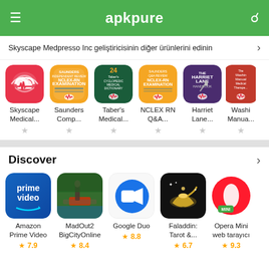apkpure
Skyscape Medpresso Inc geliştiricisinin diğer ürünlerini edinin
[Figure (screenshot): App icons row: Skyscape Medical, Saunders Comp, Taber's Medical, NCLEX RN Q&A, Harriet Lane, Washington Manual]
Discover
[Figure (screenshot): Discover apps row: Amazon Prime Video (7.9), MadOut2 BigCityOnline (8.4), Google Duo (8.8), Faladdin: Tarot & (6.7), Opera Mini web tarayıcı (9.3)]